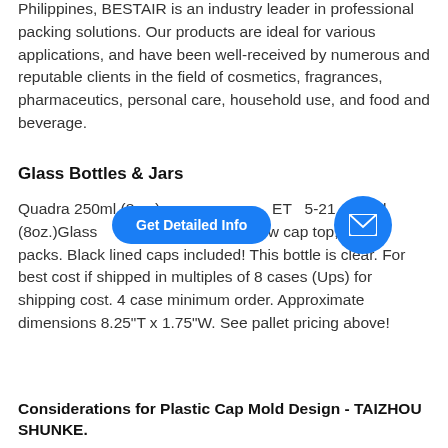Philippines, BESTAIR is an industry leader in professional packing solutions. Our products are ideal for various applications, and have been well-received by numerous and reputable clients in the field of cosmetics, fragrances, pharmaceutics, personal care, household use, and food and beverage.
Glass Bottles & Jars
Quadra 250ml (8oz.) ET 5-21, 250ml (8oz.)Glass 00 ize) screw cap top, 8 x 12 packs. Black lined caps included! This bottle is clear. For best cost if shipped in multiples of 8 cases (Ups) for shipping cost. 4 case minimum order. Approximate dimensions 8.25"T x 1.75"W. See pallet pricing above!
Considerations for Plastic Cap Mold Design - TAIZHOU SHUNKE.